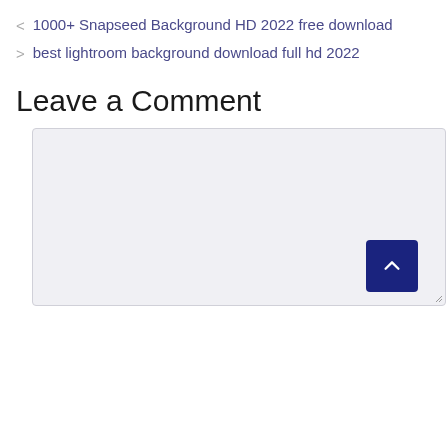< 1000+ Snapseed Background HD 2022 free download
> best lightroom background download full hd 2022
Leave a Comment
[Figure (screenshot): Empty comment textarea input box with light gray background and resize handle in bottom right corner. A dark navy blue scroll-to-top button with an upward chevron arrow is positioned at the bottom right of the textarea.]